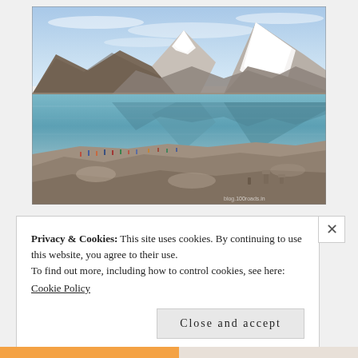[Figure (photo): Photograph of a high-altitude glacial lake (Gurudongmar Lake) with snow-capped mountains in the background and their reflection in the still blue-green water. Rocky shoreline in the foreground with small stone cairns and people visible along the water's edge. Clear blue sky above. Watermark visible in lower-right corner: blog.100roads.in or similar.]
Privacy & Cookies: This site uses cookies. By continuing to use this website, you agree to their use.
To find out more, including how to control cookies, see here:
Cookie Policy
Close and accept